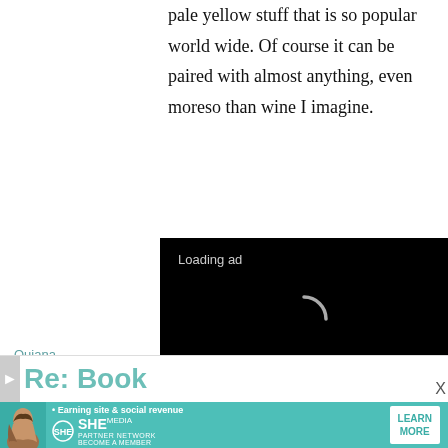pale yellow stuff that is so popular world wide. Of course it can be paired with almost anything, even moreso than wine I imagine.
[Figure (screenshot): Black video player box showing 'Loading ad' text with a loading spinner and media controls (pause, fullscreen, mute) at the bottom.]
Quiana
10
Re: Book
[Figure (screenshot): Teal banner advertisement for SHE Media Partner Network with text 'Earning site & social revenue', SHE logo, and a 'LEARN MORE' button. A woman's photo is on the left side.]